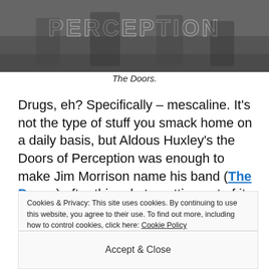[Figure (photo): Black and white photo of The Doors band with text 'PERCEPTION' visible]
The Doors.
Drugs, eh? Specifically – mescaline. It's not the type of stuff you smack home on a daily basis, but Aldous Huxley's the Doors of Perception was enough to make Jim Morrison name his band (The Doors) after this ode to getting out of it. A tremendously noble endeavour.
Cookies & Privacy: This site uses cookies. By continuing to use this website, you agree to their use. To find out more, including how to control cookies, click here: Cookie Policy
Accept & Close
after his experience, he sat back the Hell